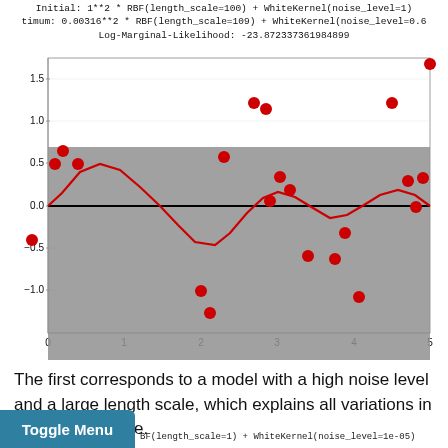Initial: 1**2 * RBF(length_scale=100) + WhiteKernel(noise_level=1)
timum: 0.00316**2 * RBF(length_scale=109) + WhiteKernel(noise_level=0.6
Log-Marginal-Likelihood: -23.872337361984899
[Figure (continuous-plot): Gaussian Process regression plot showing scattered red data points and a red sinusoidal fitted curve on a gray confidence interval band over a white plot background. X-axis spans 0 to 5, Y-axis spans approximately -1.5 to 1.5. Black horizontal line at y=0 within the gray band.]
The first corresponds to a model with a high noise level and a large length scale, which explains all variations in the data by noise.
Toggle Menu   BF(length_scale=1) + WhiteKernel(noise_level=1e-05)